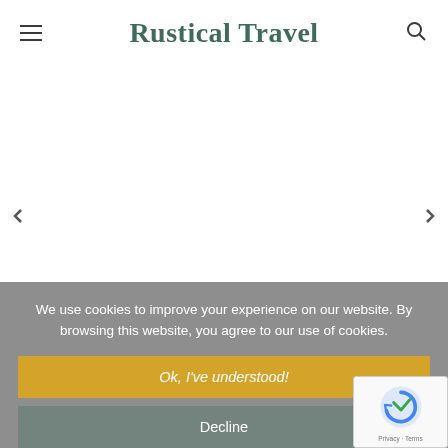Rustical Travel
[Figure (screenshot): Website screenshot of Rustical Travel with hamburger menu icon on left, site title in center, search icon on right, and a blank white image slider area with left and right navigation arrows]
We use cookies to improve your experience on our website. By browsing this website, you agree to our use of cookies.
Ok, I've understood!
Decline